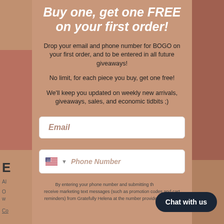Buy one, get one FREE on your first order!
Drop your email and phone number for BOGO on your first order, and to be entered in all future giveaways!
No limit, for each piece you buy, get one free!
We'll keep you updated on weekly new arrivals, giveaways, sales, and economic tidbits ;)
Email
Phone Number
By entering your phone number and submitting this form, you consent to receive marketing text messages (such as promotion codes and cart reminders) from Gratefully Helena at the number provided, including